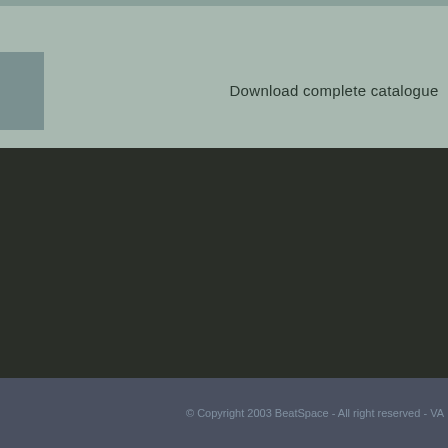Download complete catalogue
© Copyright 2003 BeatSpace - All right reserved - VA